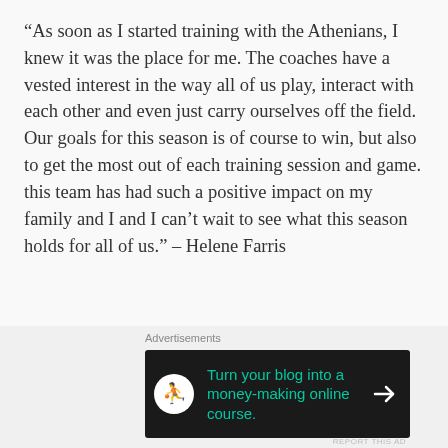“As soon as I started training with the Athenians, I knew it was the place for me. The coaches have a vested interest in the way all of us play, interact with each other and even just carry ourselves off the field. Our goals for this season is of course to win, but also to get the most out of each training session and game. this team has had such a positive impact on my family and I and I can’t wait to see what this season holds for all of us.” – Helene Farris
Forwards
2 – Allison Fahey
[Figure (other): Advertisement banner: Turn your blog into a money-making online course.]